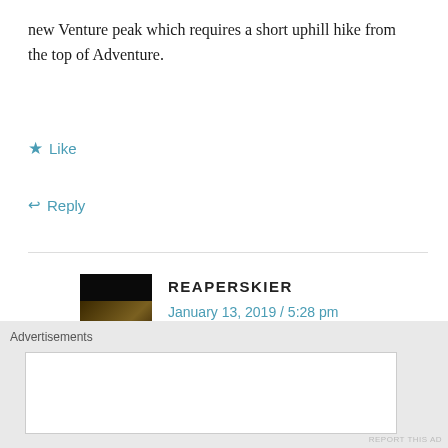new Venture peak which requires a short uphill hike from the top of Adventure.
★ Like
↩ Reply
REAPERSKIER
January 13, 2019 / 5:28 pm
Do you know any other lift projects in ontario that could happen this summer?
★ Like
Advertisements
REPORT THIS AD